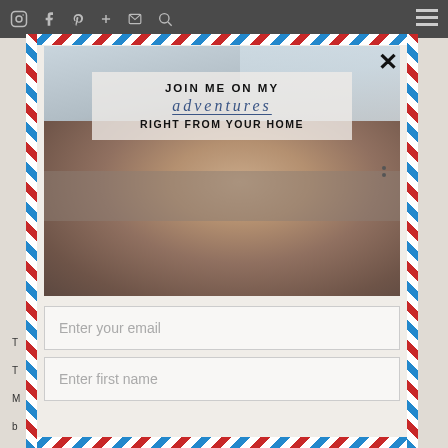Navigation icons: Instagram, Facebook, Pinterest, Plus, Email, Search | Hamburger menu
[Figure (photo): Modal popup with airmail-style border (red and blue diagonal stripes). Contains a photo of a young woman relaxing on a sofa holding a coffee cup, with a frosted text overlay reading 'JOIN ME ON MY adventures RIGHT FROM YOUR HOME'. Below the photo are two email signup form fields: 'Enter your email' and 'Enter first name'.]
JOIN ME ON MY
adventures
RIGHT FROM YOUR HOME
Enter your email
Enter first name